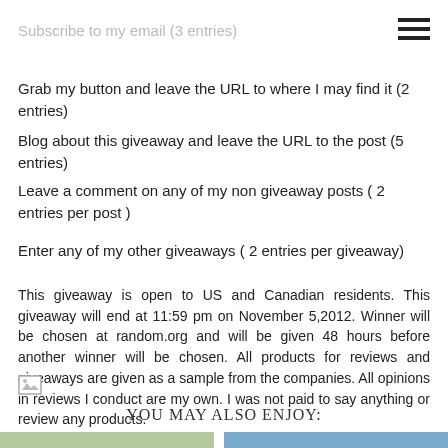Subscribe to my email (3 entries)
Grab my button and leave the URL to where I may find it (2 entries)
Blog about this giveaway and leave the URL to the post (5 entries)
Leave a comment on any of my non giveaway posts ( 2 entries per post )
Enter any of my other giveaways ( 2 entries per giveaway)
This giveaway is open to US and Canadian residents. This giveaway will end at 11:59 pm on November 5,2012. Winner will be chosen at random.org and will be given 48 hours before another winner will be chosen. All products for reviews and giveaways are given as a sample from the companies. All opinions in reviews I conduct are my own. I was not paid to say anything or review any products.
[Figure (photo): Broken image icon]
YOU MAY ALSO ENJOY:
[Figure (photo): Thumbnail image left]
[Figure (photo): Thumbnail image right]